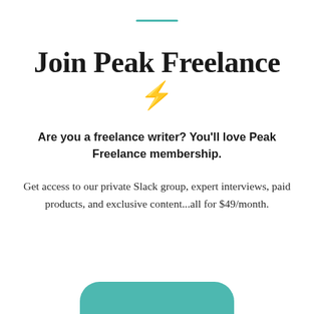Join Peak Freelance
Are you a freelance writer? You'll love Peak Freelance membership.
Get access to our private Slack group, expert interviews, paid products, and exclusive content...all for $49/month.